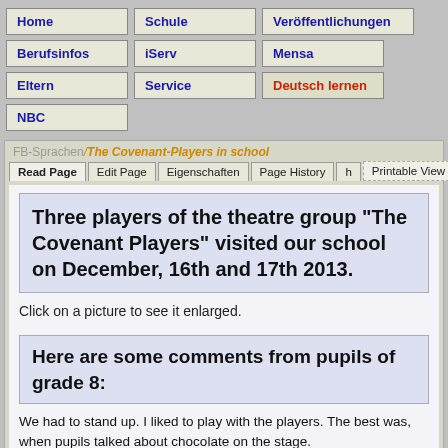Home | Schule | Veröffentlichungen | Berufsinfos | iServ | Mensa | Eltern | Service | Deutsch lernen | NBC
FB-Sprachen / The Covenant-Players in school
Three players of the theatre group "The Covenant Players" visited our school on December, 16th and 17th 2013.
Click on a picture to see it enlarged.
Here are some comments from pupils of grade 8:
We had to stand up. I liked to play with the players. The best was, when pupils talked about chocolate on the stage.